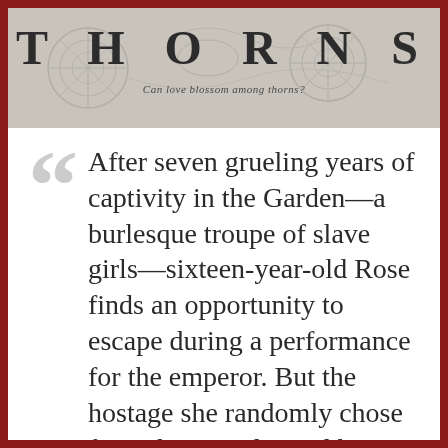THORNS
Can love blossom among thorns?
After seven grueling years of captivity in the Garden—a burlesque troupe of slave girls—sixteen-year-old Rose finds an opportunity to escape during a performance for the emperor. But the hostage she randomly chose from the crowd to aid her isn't